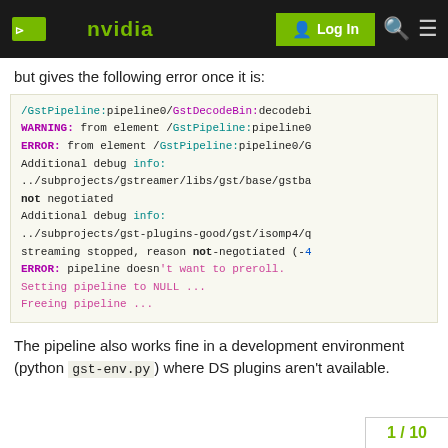NVIDIA — Log In
but gives the following error once it is:
/GstPipeline:pipeline0/GstDecodeBin:decodebi
WARNING: from element /GstPipeline:pipeline0
ERROR: from element /GstPipeline:pipeline0/G
Additional debug info:
../subprojects/gstreamer/libs/gst/base/gstba
not negotiated
Additional debug info:
../subprojects/gst-plugins-good/gst/isomp4/q
streaming stopped, reason not-negotiated (-4
ERROR: pipeline doesn't want to preroll.
Setting pipeline to NULL ...
Freeing pipeline ...
The pipeline also works fine in a development environment (python gst-env.py) where DS plugins aren't available.
1 / 10